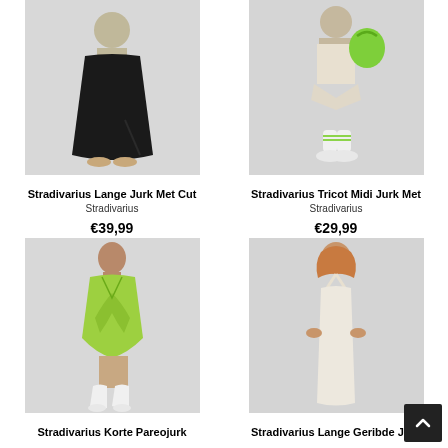[Figure (photo): Black maxi dress with cut-out detail, model wearing sandals]
Stradivarius Lange Jurk Met Cut
Stradivarius
€39,99
[Figure (photo): Model in beige shorts holding green bag, wearing white sneakers with green socks]
Stradivarius Tricot Midi Jurk Met
Stradivarius
€29,99
[Figure (photo): Model wearing green wrap shirt dress with white cowboy boots]
Stradivarius Korte Pareojurk
[Figure (photo): Model wearing white/cream sleeveless midi dress with halter neck]
Stradivarius Lange Geribde Jurk